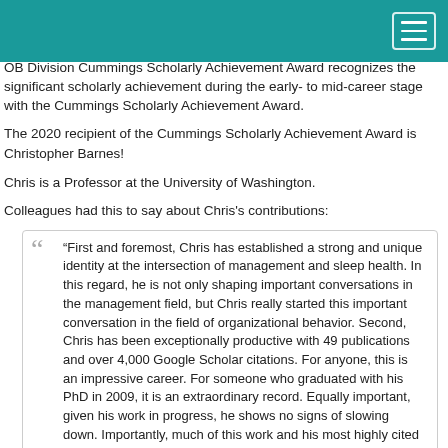OB Division Cummings Scholarly Achievement Award recognizes the significant scholarly achievement during the early- to mid-career stage with the Cummings Scholarly Achievement Award.
The 2020 recipient of the Cummings Scholarly Achievement Award is Christopher Barnes!
Chris is a Professor at the University of Washington.
Colleagues had this to say about Chris's contributions:
“First and foremost, Chris has established a strong and unique identity at the intersection of management and sleep health. In this regard, he is not only shaping important conversations in the management field, but Chris really started this important conversation in the field of organizational behavior. Second, Chris has been exceptionally productive with 49 publications and over 4,000 Google Scholar citations. For anyone, this is an impressive career. For someone who graduated with his PhD in 2009, it is an extraordinary record. Equally important, given his work in progress, he shows no signs of slowing down. Importantly, much of this work and his most highly cited work can be attributed to him, which further strengthens his identity in the field. Third, Chris has been an important contributor to the field.